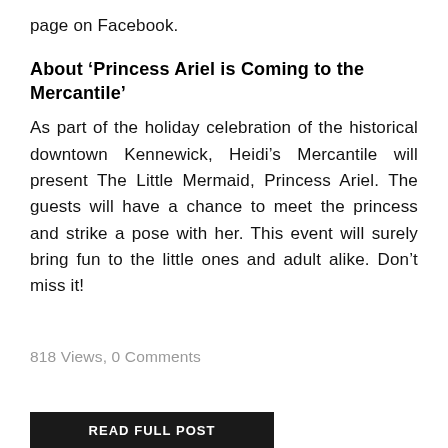page on Facebook.
About 'Princess Ariel is Coming to the Mercantile'
As part of the holiday celebration of the historical downtown Kennewick, Heidi's Mercantile will present The Little Mermaid, Princess Ariel. The guests will have a chance to meet the princess and strike a pose with her. This event will surely bring fun to the little ones and adult alike. Don't miss it!
818 Views, 0 Comments
READ FULL POST